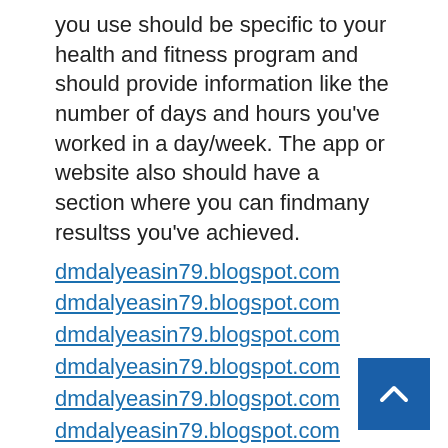you use should be specific to your health and fitness program and should provide information like the number of days and hours you've worked in a day/week. The app or website also should have a section where you can findmany resultss you've achieved.
dmdalyeasin79.blogspot.com
dmdalyeasin79.blogspot.com
dmdalyeasin79.blogspot.com
dmdalyeasin79.blogspot.com
dmdalyeasin79.blogspot.com
dmdalyeasin79.blogspot.com
dmdalyeasin79.blogspot.com
dmdalyeasin79.blogspot.com
dmdalyeasin79.blogspot.com
dmdalyeasin79.blogspot.com
dmdalyeasin79.blogspot.com